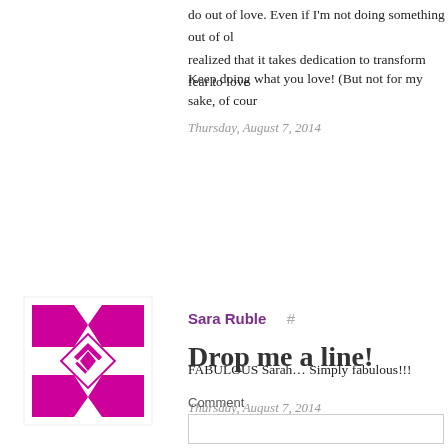do out of love. Even if I'm not doing something out of ob realized that it takes dedication to transform fear to love
Keep doing what you love! (But not for my sake, of cour
Thursday, August 7, 2014
[Figure (illustration): Avatar image with pink/magenta geometric star/cross pattern on white background]
Sara Ruble #
FABULOUS Sarah… Simply fabulous!!!
Thursday, August 7, 2014
Drop me a line!
Comment